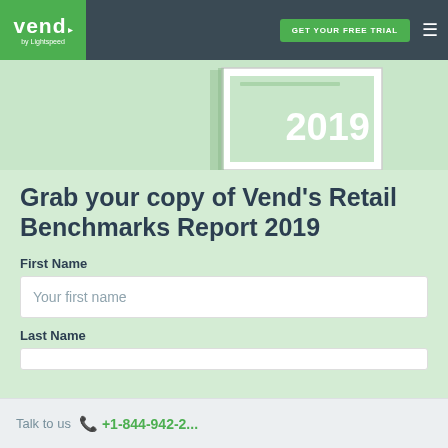vend by Lightspeed | GET YOUR FREE TRIAL
[Figure (illustration): Partial view of Vend Retail Benchmarks Report 2019 book cover showing white cover with '2019' text on a light green background]
Grab your copy of Vend's Retail Benchmarks Report 2019
First Name
Your first name
Last Name
Talk to us  +1-844-942-2...